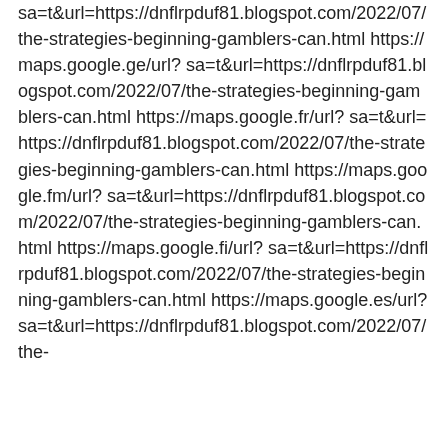sa=t&url=https://dnflrpduf81.blogspot.com/2022/07/the-strategies-beginning-gamblers-can.html https://maps.google.ge/url?sa=t&url=https://dnflrpduf81.blogspot.com/2022/07/the-strategies-beginning-gamblers-can.html https://maps.google.fr/url?sa=t&url=https://dnflrpduf81.blogspot.com/2022/07/the-strategies-beginning-gamblers-can.html https://maps.google.fm/url?sa=t&url=https://dnflrpduf81.blogspot.com/2022/07/the-strategies-beginning-gamblers-can.html https://maps.google.fi/url?sa=t&url=https://dnflrpduf81.blogspot.com/2022/07/the-strategies-beginning-gamblers-can.html https://maps.google.es/url?sa=t&url=https://dnflrpduf81.blogspot.com/2022/07/the-